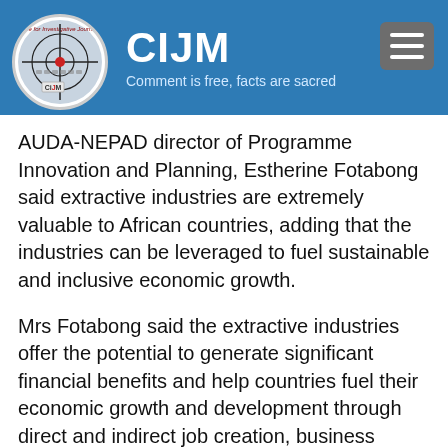CIJM — Comment is free, facts are sacred
AUDA-NEPAD director of Programme Innovation and Planning, Estherine Fotabong said extractive industries are extremely valuable to African countries, adding that the industries can be leveraged to fuel sustainable and inclusive economic growth.
Mrs Fotabong said the extractive industries offer the potential to generate significant financial benefits and help countries fuel their economic growth and development through direct and indirect job creation, business opportunities, technologies and knowledge